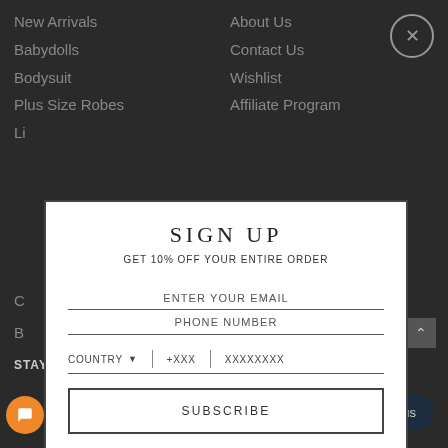New Arrivals   Babydolls   Bodysuit   Plus Size Robes   About Us   Contact Us   Wishlist   Affiliate Program
SIGN UP
GET 10% OFF YOUR ENTIRE ORDER
ENTER YOUR EMAIL
PHONE NUMBER
COUNTRY ▾   +XXX   XXXXXXXX
SUBSCRIBE
STAY CONNECTED
Powered by omnisend
Chat with us